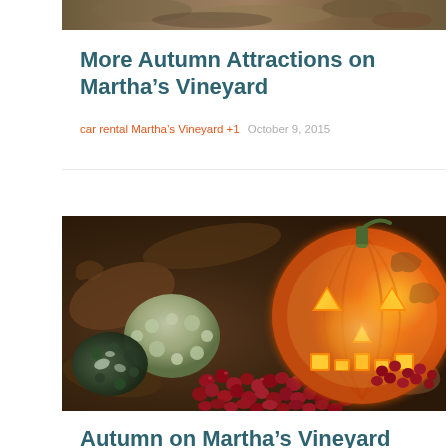[Figure (photo): Cropped top portion of an autumn-themed photograph showing leaves and fall colors]
More Autumn Attractions on Martha’s Vineyard
car rental Martha's Vineyard +1   October 9, 2015
[Figure (photo): Autumn harvest scene with a carved glowing jack-o-lantern pumpkin, a green warty gourd, and red cranberries scattered on fallen leaves]
Autumn on Martha’s Vineyard